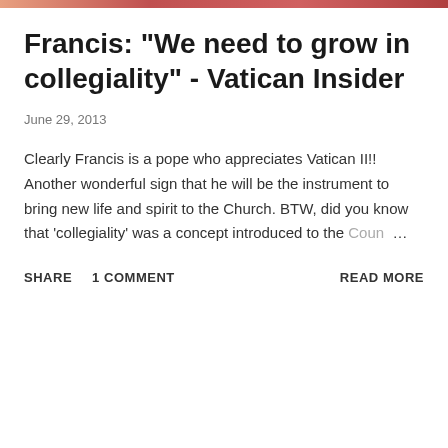[Figure (photo): Partial image strip at top of page showing people in red/orange tones]
Francis: "We need to grow in collegiality" - Vatican Insider
June 29, 2013
Clearly Francis is a pope who appreciates Vatican II!! Another wonderful sign that he will be the instrument to bring new life and spirit to the Church. BTW, did you know that 'collegiality' was a concept introduced to the Coun…
SHARE  1 COMMENT  READ MORE